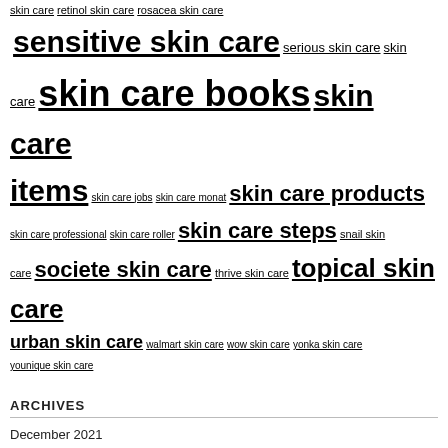skin care | retinol skin care | rosacea skin care | sensitive skin care | serious skin care | skin care | skin care books | skin care items | skin care jobs | skin care monat | skin care products | skin care professional | skin care roller | skin care steps | snail skin care | societe skin care | thrive skin care | topical skin care | urban skin care | walmart skin care | wow skin care | yonka skin care | younique skin care
ARCHIVES
December 2021
November 2021